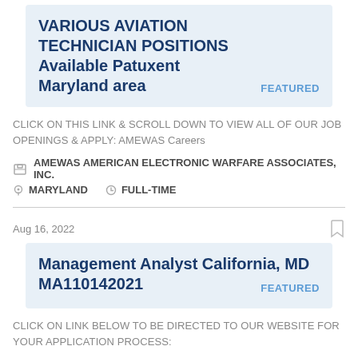VARIOUS AVIATION TECHNICIAN POSITIONS Available Patuxent Maryland area FEATURED
CLICK ON THIS LINK & SCROLL DOWN TO VIEW ALL OF OUR JOB OPENINGS & APPLY: AMEWAS Careers
AMEWAS AMERICAN ELECTRONIC WARFARE ASSOCIATES, INC. MARYLAND FULL-TIME
Aug 16, 2022
Management Analyst California, MD MA110142021 FEATURED
CLICK ON LINK BELOW TO BE DIRECTED TO OUR WEBSITE FOR YOUR APPLICATION PROCESS: